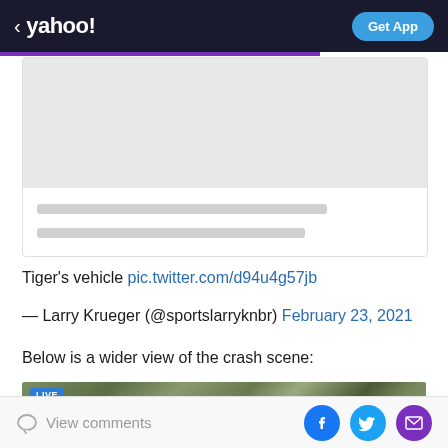< yahoo! | Get App
[Figure (screenshot): Placeholder article card with grey image area and two grey text line placeholders]
Tiger's vehicle pic.twitter.com/d94u4g57jb
— Larry Krueger (@sportslarryknbr) February 23, 2021
Below is a wider view of the crash scene:
[Figure (photo): Aerial LIVE view of crash scene with trees and terrain visible]
View comments | Facebook | Twitter | Email